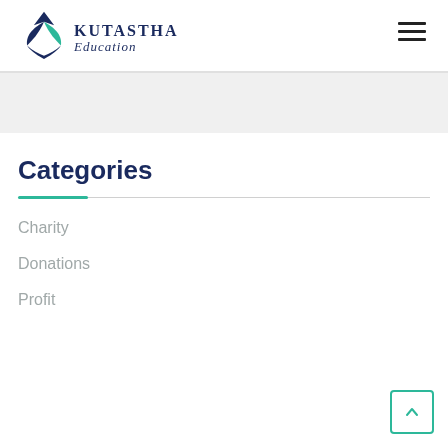Kutastha Education
Categories
Charity
Donations
Profit